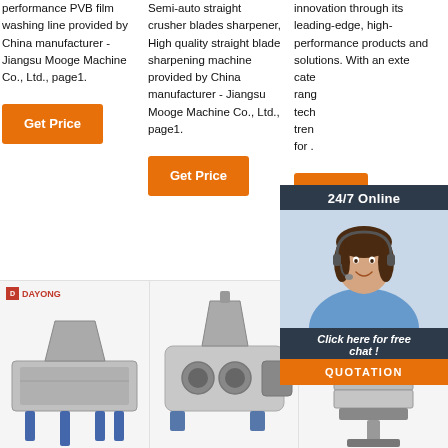performance PVB film washing line provided by China manufacturer - Jiangsu Mooge Machine Co., Ltd., page1.
Get Price
Semi-auto straight crusher blades sharpener, High quality straight blade sharpening machine provided by China manufacturer - Jiangsu Mooge Machine Co., Ltd., page1.
Get Price
innovation through its leading-edge, high-performance products and solutions. With an extensive catalog ranging from technical to trending solutions for .
[Figure (infographic): 24/7 Online chat widget with a customer service representative wearing a headset, dark navy background, with 'Click here for free chat!' text and an orange QUOTATION button.]
[Figure (photo): Three industrial machine product images in a row at the bottom of the page. Left: Dayong linear vibrating sieve machine with blue legs. Center: industrial grinder/milling machine in gray. Right: Dayong round vibrating sieve with stacked sieves and a TOP badge with orange dots.]